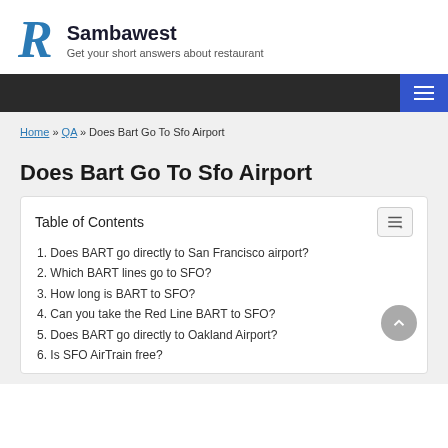Sambawest — Get your short answers about restaurant
Does Bart Go To Sfo Airport
Home » QA » Does Bart Go To Sfo Airport
1. Does BART go directly to San Francisco airport?
2. Which BART lines go to SFO?
3. How long is BART to SFO?
4. Can you take the Red Line BART to SFO?
5. Does BART go directly to Oakland Airport?
6. Is SFO AirTrain free?